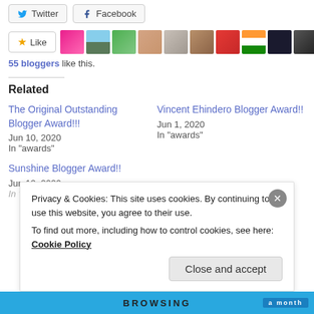[Figure (screenshot): Twitter and Facebook share buttons]
[Figure (screenshot): Like button with star icon and a row of blogger avatar thumbnails]
55 bloggers like this.
Related
The Original Outstanding Blogger Award!!!
Jun 10, 2020
In "awards"
Vincent Ehindero Blogger Award!!
Jun 1, 2020
In "awards"
Sunshine Blogger Award!!
Jun 12, 2020
Privacy & Cookies: This site uses cookies. By continuing to use this website, you agree to their use.
To find out more, including how to control cookies, see here: Cookie Policy
Close and accept